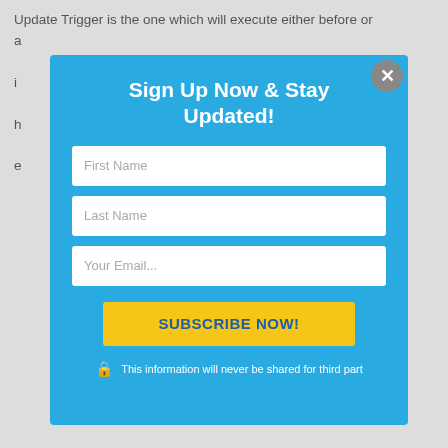Update Trigger is the one which will execute either before or after an UPDATE operation is performed on a table. In SQL Server, we can create multiple Update triggers on a single table. However, each trigger has its own specific purpose. Now, let us see an example of Update Trigger in SQL Server with an example.
[Figure (screenshot): Email signup modal overlay with 'Sign Up Now & Stay Updated!' heading, fields for First Name, Last Name, Your Email, a yellow SUBSCRIBE NOW! button, and privacy notice. Close button in top right.]
END)
/